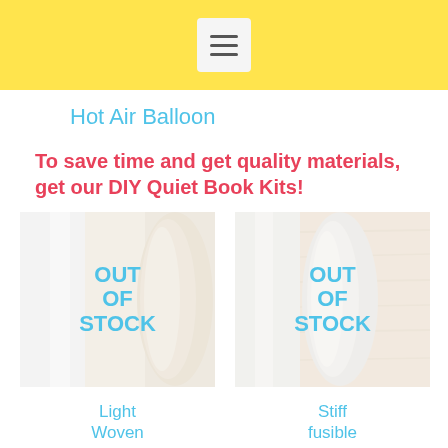Navigation menu header bar with hamburger icon
Hot Air Balloon
To save time and get quality materials, get our DIY Quiet Book Kits!
[Figure (photo): Product image showing light woven fusible interfacing fabric, overlaid with OUT OF STOCK text]
Light Woven Fusible Interfacing
3,00€
[Figure (photo): Product image showing stiff fusible interfacing fabric on wooden background, overlaid with OUT OF STOCK text]
Stiff fusible interfacing
3,00€